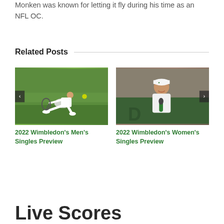Monken was known for letting it fly during his time as an NFL OC.
Related Posts
[Figure (photo): Tennis player in white outfit making a low sliding shot on a grass court, holding a racket, with a yellow ball visible. Navigation arrow on left side.]
2022 Wimbledon's Men's Singles Preview
[Figure (photo): Female tennis player in white outfit and white cap holding a microphone, smiling, with a green background. Navigation arrow on right side.]
2022 Wimbledon's Women's Singles Preview
Live Scores